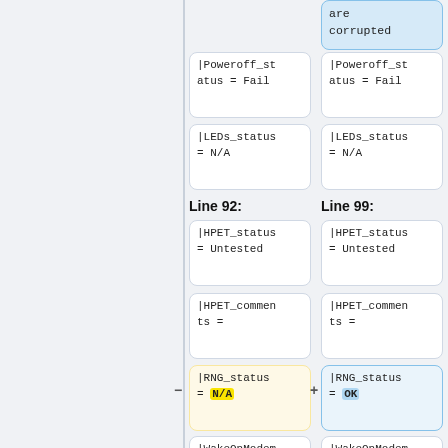[Figure (screenshot): Diff view showing two columns (Line 92 and Line 99) of code/configuration fields. Each column contains code boxes with field values. Differences are highlighted: left column has RNG_status = N/A (yellow highlight), right column has RNG_status = OK (blue highlight). A vertical divider separates the left sidebar from the main content. Boxes shown include: corrupted (blue, top right), Poweroff_status = Fail, LEDs_status = N/A, HPET_status = Untested, HPET_comments =, RNG_status = N/A (yellow, left) vs OK (blue, right), WakeOnModem_status = Untested, WakeOnLAN_s... (partial).]